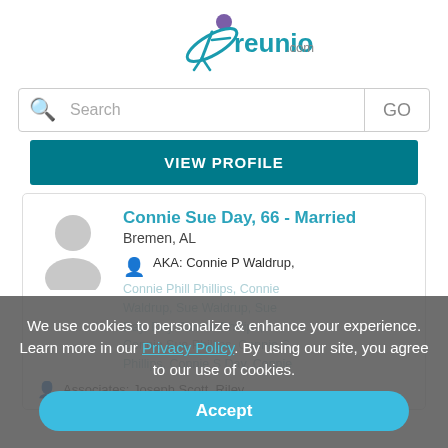[Figure (logo): reunion.com logo with teal/purple figure icon and teal text]
Search GO
VIEW PROFILE
Connie Sue Day, 66 - Married
Bremen, AL
AKA: Connie P Waldrup,
Connie Phill Phillips, Connie Waldrup, Sue Waldrup, Sue Day, Day Connie Phillips, Connie Sue Phillips, Connie S Phillips, Connie S Day, Connie
Associates: Joseph Scott, Riley
We use cookies to personalize & enhance your experience. Learn more in our Privacy Policy. By using our site, you agree to our use of cookies.
Accept